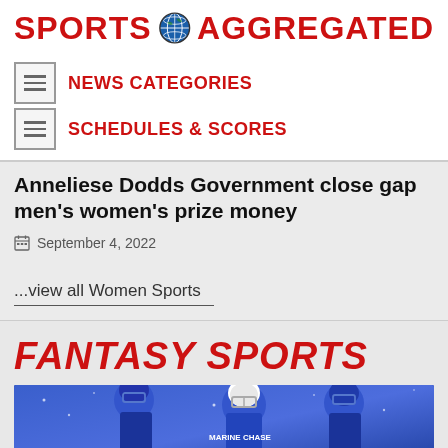SPORTS AGGREGATED
NEWS CATEGORIES
SCHEDULES & SCORES
Anneliese Dodds Government close gap men's women's prize money
September 4, 2022
...view all Women Sports
FANTASY SPORTS
[Figure (photo): Football players in blue Buffalo Bills uniforms and white helmets]